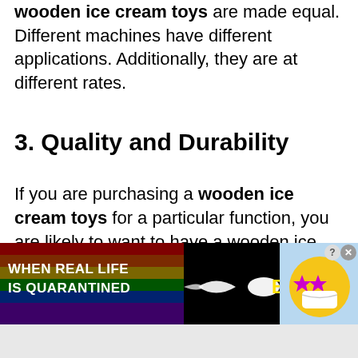wooden ice cream toys are made equal. Different machines have different applications. Additionally, they are at different rates.
3. Quality and Durability
If you are purchasing a wooden ice cream toys for a particular function, you are likely to want to have a wooden ice cream toys that is most appropriate for your usage you are thinking about. From time to time, a quality you believe that you will use all of the time ends up being more or less worthless to
[Figure (screenshot): BitLife app advertisement banner with rainbow background on left, text 'WHEN REAL LIFE IS QUARANTINED', arrow pointing to BitLife logo in yellow text, emoji character with star eyes and face mask on right, close and help buttons in top right corner]